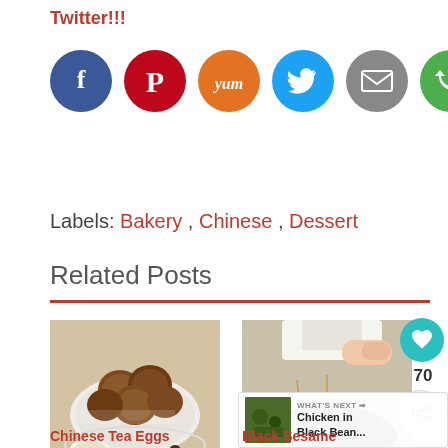Twitter!!!
[Figure (other): Social media sharing icons: Facebook (blue), Pinterest (red), Yummly (orange), Twitter (cyan), Email (gray), Share (green)]
Labels: Bakery , Chinese , Dessert
Related Posts
[Figure (photo): Chinese Tea Eggs photo: brown tea eggs in a white bowl with pieces of egg shell and spices on a white plate]
[Figure (photo): Black Sesame Mochi photo: dark sesame-coated mochi balls on a dark plate with toothpicks]
Chinese Tea Eggs
Black Sesame Mochi (?????)